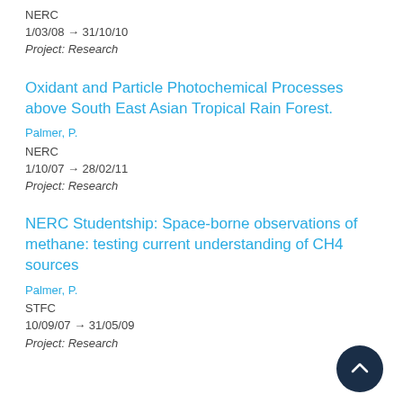NERC
1/03/08 → 31/10/10
Project: Research
Oxidant and Particle Photochemical Processes above South East Asian Tropical Rain Forest.
Palmer, P.
NERC
1/10/07 → 28/02/11
Project: Research
NERC Studentship: Space-borne observations of methane: testing current understanding of CH4 sources
Palmer, P.
STFC
10/09/07 → 31/05/09
Project: Research